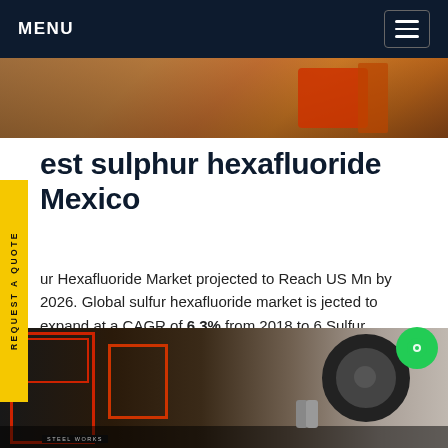MENU
[Figure (photo): Top photo strip showing industrial/orange equipment partially visible]
est sulphur hexafluoride Mexico
ur Hexafluoride Market projected to Reach US Mn by 2026. Global sulfur hexafluoride market is jected to expand at a CAGR of 6.3% from 2018 to 6 Sulfur Hexafluoride Market - Overview Sulfur afluoride is Get price
[Figure (photo): Bottom photo showing industrial facility with red metal frames/structures and large cable rolls, workers visible in background]